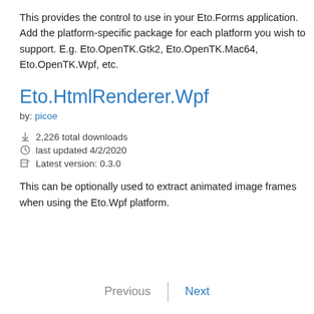This provides the control to use in your Eto.Forms application. Add the platform-specific package for each platform you wish to support. E.g. Eto.OpenTK.Gtk2, Eto.OpenTK.Mac64, Eto.OpenTK.Wpf, etc.
Eto.HtmlRenderer.Wpf
by: picoe
2,226 total downloads
last updated 4/2/2020
Latest version: 0.3.0
This can be optionally used to extract animated image frames when using the Eto.Wpf platform.
Previous | Next